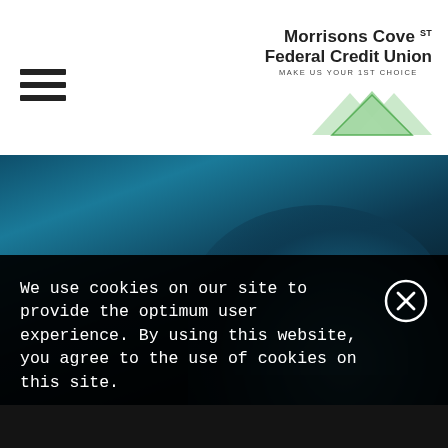[Figure (logo): Morrisons Cove 1st Federal Credit Union logo with green triangle mountain graphic and tagline MAKE US YOUR 1ST CHOICE]
[Figure (photo): Dark teal blue velvet armchair, close-up fabric texture, partially visible curved backrest against dark background]
We use cookies on our site to provide the optimum user experience. By using this website, you agree to the use of cookies on this site.